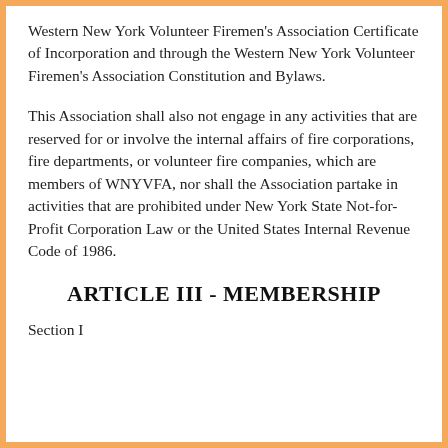Western New York Volunteer Firemen's Association Certificate of Incorporation and through the Western New York Volunteer Firemen's Association Constitution and Bylaws.
This Association shall also not engage in any activities that are reserved for or involve the internal affairs of fire corporations, fire departments, or volunteer fire companies, which are members of WNYVFA, nor shall the Association partake in activities that are prohibited under New York State Not-for-Profit Corporation Law or the United States Internal Revenue Code of 1986.
ARTICLE III - MEMBERSHIP
Section I